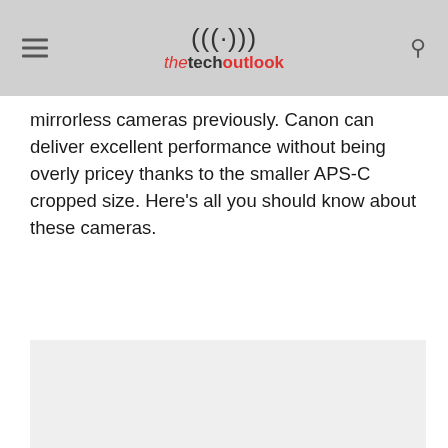the tech outlook
mirrorless cameras previously. Canon can deliver excellent performance without being overly pricey thanks to the smaller APS-C cropped size. Here’s all you should know about these cameras.
[Figure (photo): Light grey placeholder image area]
Canon EOS R7